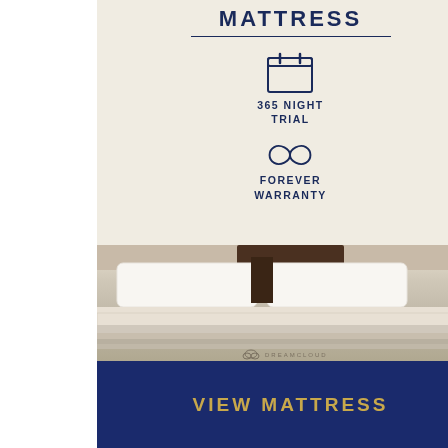MATTRESS
[Figure (infographic): Calendar icon representing 365 Night Trial]
365 NIGHT TRIAL
[Figure (infographic): Infinity symbol icon representing Forever Warranty]
FOREVER WARRANTY
[Figure (photo): DreamCloud mattress with white pillows and bedding on a bed frame]
VIEW MATTRESS